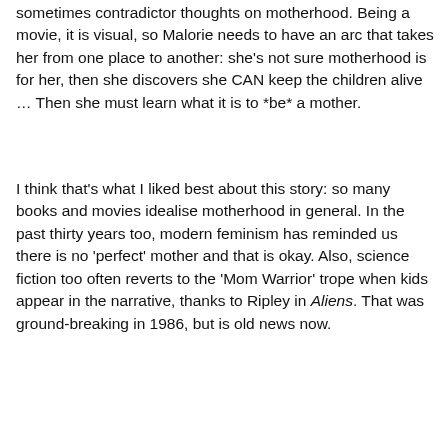sometimes contradictor thoughts on motherhood. Being a movie, it is visual, so Malorie needs to have an arc that takes her from one place to another: she's not sure motherhood is for her, then she discovers she CAN keep the children alive … Then she must learn what it is to *be* a mother.
I think that's what I liked best about this story: so many books and movies idealise motherhood in general. In the past thirty years too, modern feminism has reminded us there is no 'perfect' mother and that is okay. Also, science fiction too often reverts to the 'Mom Warrior' trope when kids appear in the narrative, thanks to Ripley in Aliens. That was ground-breaking in 1986, but is old news now.